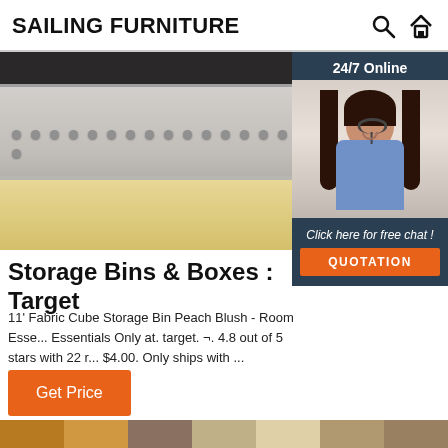SAILING FURNITURE
[Figure (photo): Photo of a tufted fabric bed frame with trundle drawer on a wooden floor, partially visible. Overlaid with a sidebar showing a customer service representative with headset, text '24/7 Online', 'Click here for free chat!', and 'QUOTATION' button on dark blue background.]
Storage Bins & Boxes : Target
11' Fabric Cube Storage Bin Peach Blush - Room Essentials Only at. target. ¬. 4.8 out of 5 stars with 22 r. $4.00. Only ships with ...
[Figure (screenshot): Orange 'Get Price' button]
[Figure (photo): Bottom strip of additional furniture images, partially visible at the very bottom of the page]